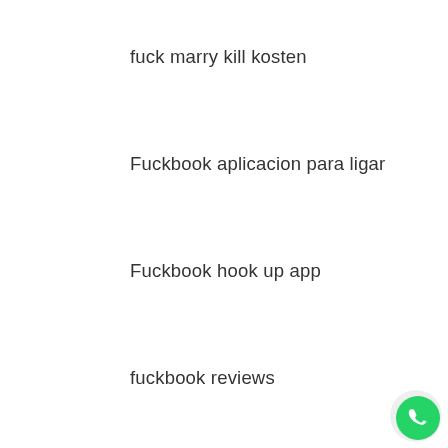fuck marry kill kosten
Fuckbook aplicacion para ligar
Fuckbook hook up app
fuckbook reviews
fuckbookhookup preise
FuckBookHookup review
fuckr-inceleme review
fuckswipe fr review
fuckswipe reviews
Full Of Desire useful content
[Figure (logo): WhatsApp green circular button icon in bottom right corner]